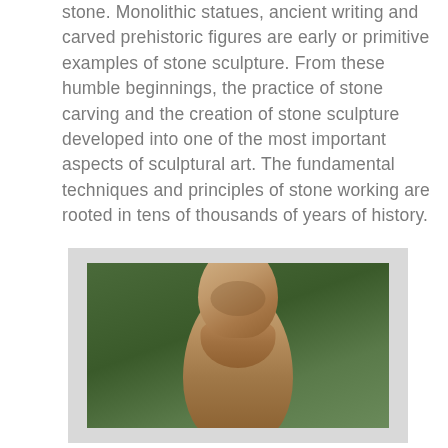stone. Monolithic statues, ancient writing and carved prehistoric figures are early or primitive examples of stone sculpture. From these humble beginnings, the practice of stone carving and the creation of stone sculpture developed into one of the most important aspects of sculptural art. The fundamental techniques and principles of stone working are rooted in tens of thousands of years of history.
[Figure (photo): A weathered stone bust sculpture of a bearded man, photographed outdoors against a background of green foliage and leaves.]